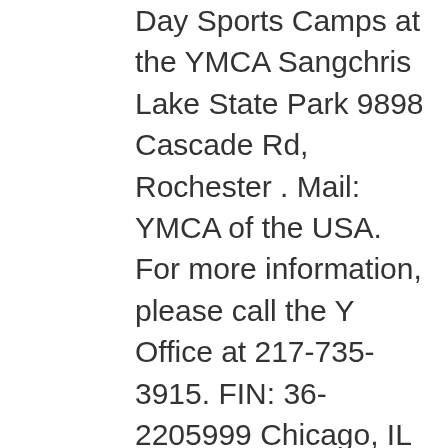Day Sports Camps at the YMCA Sangchris Lake State Park 9898 Cascade Rd, Rochester . Mail: YMCA of the USA. For more information, please call the Y Office at 217-735-3915. FIN: 36-2205999 Chicago, IL 60606. Downtown YMCA Online Fitness. He was born on March 30, 1952 in Taylorville, IL. Chuck was my first YMCA soccer coach in the late 1970's. He set the standard . MATTOON — The Mattoon Area Family YMCA and Neal Center